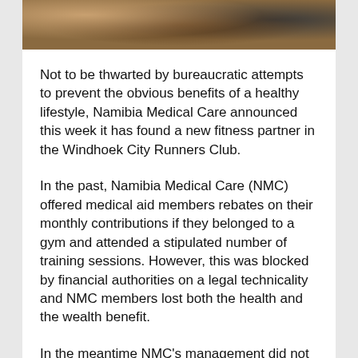[Figure (photo): Partial photo strip at top of page showing people, cropped — brown/tan and dark tones visible]
Not to be thwarted by bureaucratic attempts to prevent the obvious benefits of a healthy lifestyle, Namibia Medical Care announced this week it has found a new fitness partner in the Windhoek City Runners Club.
In the past, Namibia Medical Care (NMC) offered medical aid members rebates on their monthly contributions if they belonged to a gym and attended a stipulated number of training sessions. However, this was blocked by financial authorities on a legal technicality and NMC members lost both the health and the wealth benefit.
In the meantime NMC's management did not take the blow lying down, and started strategizing to find alternative channels to achieve the same result, i.e. containing the ever-rising cost of medical care by promoting healthy lifestyles. This lead to NMC's Fitness Explosion